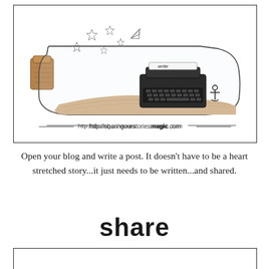[Figure (illustration): A glass bottle with a cork stopper lying on its side, containing sand and a miniature typewriter with the word 'write' on it, with stars floating inside. URL 'http://sharingourstoriesmagic.com' displayed below with dashes on each side.]
Open your blog and write a post. It doesn't have to be a heart stretched story...it just needs to be written...and shared.
share
[Figure (other): Partial empty box (bottom of page, only top border visible)]